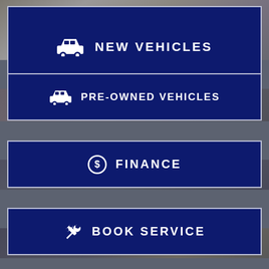[Figure (infographic): Navigation menu with four dark navy blue buttons on a blurred outdoor background. Buttons: NEW VEHICLES (car icon), PRE-OWNED VEHICLES (car icon), FINANCE (dollar sign circle icon), BOOK SERVICE (wrench icon).]
NEW VEHICLES
PRE-OWNED VEHICLES
FINANCE
BOOK SERVICE